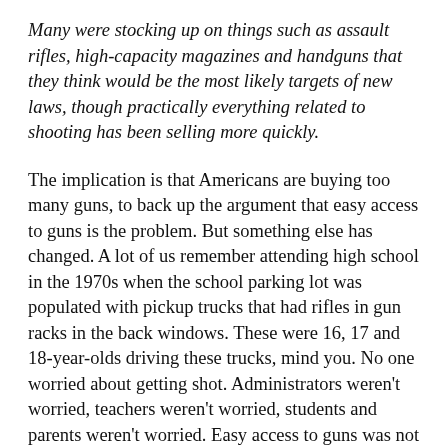Many were stocking up on things such as assault rifles, high-capacity magazines and handguns that they think would be the most likely targets of new laws, though practically everything related to shooting has been selling more quickly.
The implication is that Americans are buying too many guns, to back up the argument that easy access to guns is the problem. But something else has changed. A lot of us remember attending high school in the 1970s when the school parking lot was populated with pickup trucks that had rifles in gun racks in the back windows. These were 16, 17 and 18-year-olds driving these trucks, mind you. No one worried about getting shot. Administrators weren't worried, teachers weren't worried, students and parents weren't worried. Easy access to guns was not the problem. What's changed